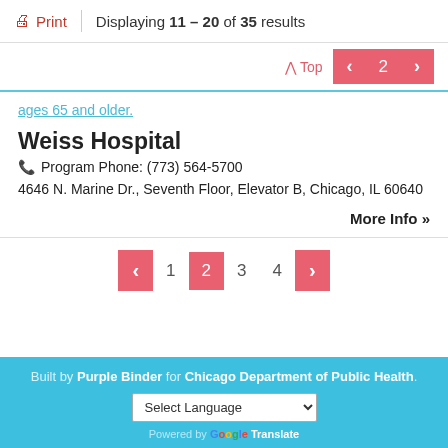Print | Displaying 11 - 20 of 35 results
ages 65 and older.
Weiss Hospital
Program Phone: (773) 564-5700
4646 N. Marine Dr., Seventh Floor, Elevator B, Chicago, IL 60640
More Info »
Built by Purple Binder for Chicago Department of Public Health.
Select Language | Powered by Google Translate